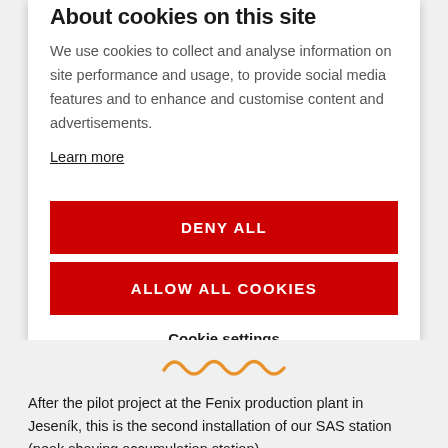About cookies on this site
We use cookies to collect and analyse information on site performance and usage, to provide social media features and to enhance and customise content and advertisements.
Learn more
DENY ALL
ALLOW ALL COOKIES
Cookie settings
[Figure (illustration): Orange wavy squiggle decorative line]
After the pilot project at the Fenix production plant in Jeseník, this is the second installation of our SAS station (peak shaving accumulation station).